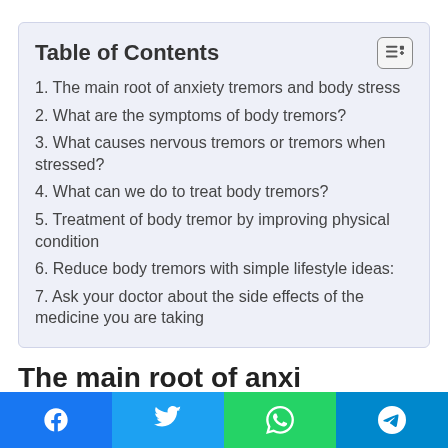Table of Contents
1. The main root of anxiety tremors and body stress
2. What are the symptoms of body tremors?
3. What causes nervous tremors or tremors when stressed?
4. What can we do to treat body tremors?
5. Treatment of body tremor by improving physical condition
6. Reduce body tremors with simple lifestyle ideas:
7. Ask your doctor about the side effects of the medicine you are taking